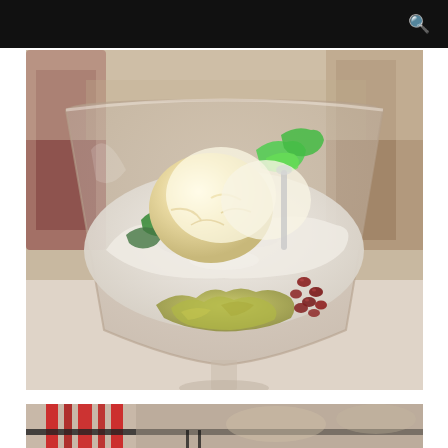[Figure (photo): Close-up photo of a dessert in a large clear plastic cup/bowl. The dessert contains shaved ice, a scoop of vanilla ice cream, green jelly pieces, matcha/avocado flavored cream or ice cream at the bottom, and small red azuki beans. The background shows a restaurant interior with chairs and tables.]
[Figure (photo): Partial view of what appears to be a restaurant setting with red decorative elements, possibly chopsticks or a sign, visible at the top of the frame.]